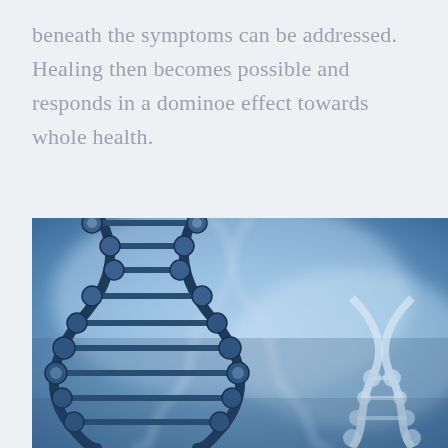beneath the symptoms can be addressed.  Healing then becomes possible and responds in a dominoe effect towards whole health.
[Figure (photo): Close-up illustration of DNA double helix strands in blue tones against a blurred blue background, showing the molecular structure with connected spherical nodes.]